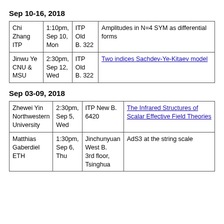Sep 10-16, 2018
| Chi Zhang ITP | 1:10pm, Sep 10, Mon | ITP Old B. 322 | Amplitudes in N=4 SYM as differential forms |
| Jinwu Ye CNU & MSU | 2:30pm, Sep 12, Wed | ITP Old B. 322 | Two indices Sachdev-Ye-Kitaev model |
Sep 03-09, 2018
| Zhewei Yin Northwestern University | 2:30pm, Sep 5, Wed | ITP New B. 6420 | The Infrared Structures of Scalar Effective Field Theories |
| Matthias Gaberdiel ETH | 1:30pm, Sep 6, Thu | Jinchunyuan West B. 3rd floor, Tsinghua | AdS3 at the string scale |